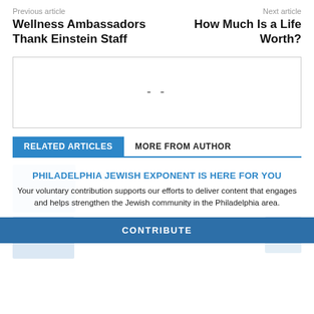Previous article | Next article
Wellness Ambassadors Thank Einstein Staff
How Much Is a Life Worth?
[Figure (other): Advertisement placeholder box with dashes]
RELATED ARTICLES | MORE FROM AUTHOR
PHILADELPHIA JEWISH EXPONENT IS HERE FOR YOU
Your voluntary contribution supports our efforts to deliver content that engages and helps strengthen the Jewish community in the Philadelphia area.
CONTRIBUTE
Israel Begins Administering Four Coronavirus Shots